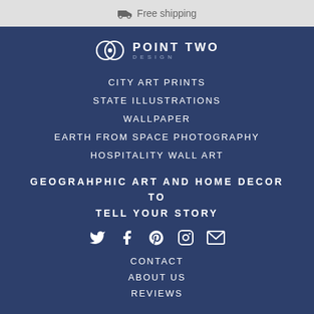Free shipping
[Figure (logo): Point Two Design logo with circular icon and text]
CITY ART PRINTS
STATE ILLUSTRATIONS
WALLPAPER
EARTH FROM SPACE PHOTOGRAPHY
HOSPITALITY WALL ART
GEOGRAHPHIC ART AND HOME DECOR TO TELL YOUR STORY
[Figure (infographic): Social media icons: Twitter, Facebook, Pinterest, Instagram, Email]
CONTACT
ABOUT US
REVIEWS